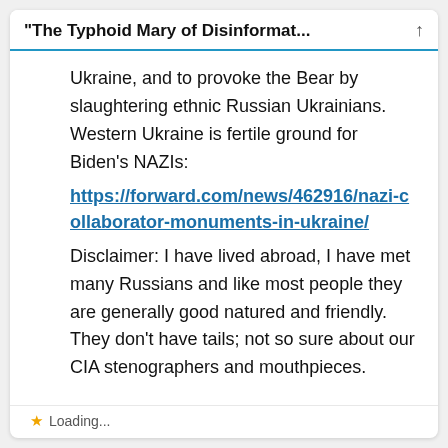“The Typhoid Mary of Disinformat…
Ukraine, and to provoke the Bear by slaughtering ethnic Russian Ukrainians. Western Ukraine is fertile ground for Biden’s NAZIs: https://forward.com/news/462916/nazi-collaborator-monuments-in-ukraine/ Disclaimer: I have lived abroad, I have met many Russians and like most people they are generally good natured and friendly. They don’t have tails; not so sure about our CIA stenographers and mouthpieces.
Loading…